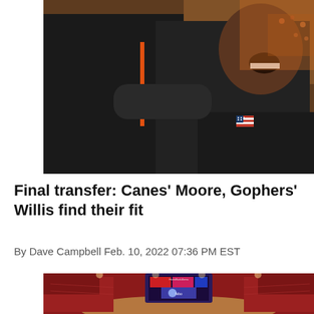[Figure (photo): Two basketball players in black uniforms embracing and celebrating. One player faces away showing an orange stripe on sleeve, the other player faces camera with eyes closed smiling, wearing a jersey with a US flag patch. Background shows a packed arena with orange-clad fans.]
Final transfer: Canes' Moore, Gophers' Willis find their fit
By Dave Campbell Feb. 10, 2022 07:36 PM EST
[Figure (photo): Wide aerial view of a large indoor sports arena filled with fans in red. A large video scoreboard hangs from the ceiling showing colorful graphics. The arena appears to be a college basketball venue.]